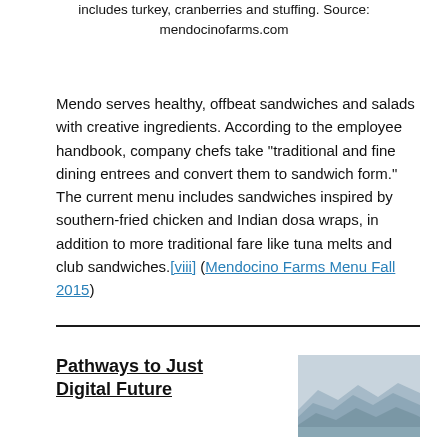includes turkey, cranberries and stuffing. Source: mendocinofarms.com
Mendo serves healthy, offbeat sandwiches and salads with creative ingredients. According to the employee handbook, company chefs take “traditional and fine dining entrees and convert them to sandwich form.” The current menu includes sandwiches inspired by southern-fried chicken and Indian dosa wraps, in addition to more traditional fare like tuna melts and club sandwiches.[viii] (Mendocino Farms Menu Fall 2015)
Pathways to Just Digital Future
[Figure (photo): Layered mountain landscape in misty blue-grey tones]